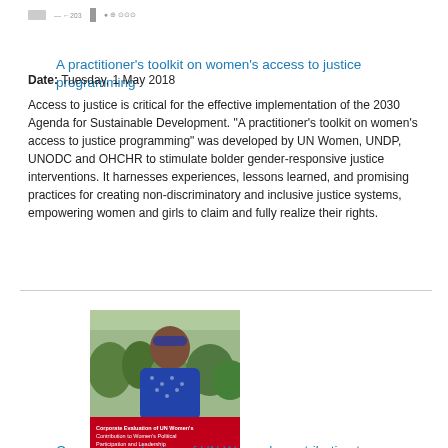A practitioner’s toolkit on women’s access to justice programming
Date: Tuesday, 1 May 2018
Access to justice is critical for the effective implementation of the 2030 Agenda for Sustainable Development. “A practitioner’s toolkit on women’s access to justice programming” was developed by UN Women, UNDP, UNODC and OHCHR to stimulate bolder gender-responsive justice interventions. It harnesses experiences, lessons learned, and promising practices for creating non-discriminatory and inclusive justice systems, empowering women and girls to claim and fully realize their rights.
[Figure (photo): Book cover photo showing a woman and a red panel with text about corporate evaluation of UN Women’s contribution to women’s political participation and leadership: Synthesis report]
Corporate evaluation of UN Women’s contribution to women’s political participation and leadership: Synthesis report